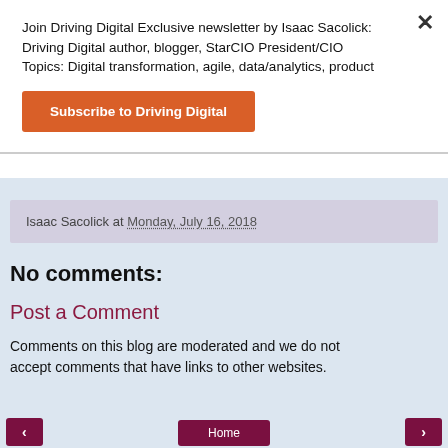Join Driving Digital Exclusive newsletter by Isaac Sacolick: Driving Digital author, blogger, StarCIO President/CIO Topics: Digital transformation, agile, data/analytics, product
Subscribe to Driving Digital
Isaac Sacolick at Monday, July 16, 2018
No comments:
Post a Comment
Comments on this blog are moderated and we do not accept comments that have links to other websites.